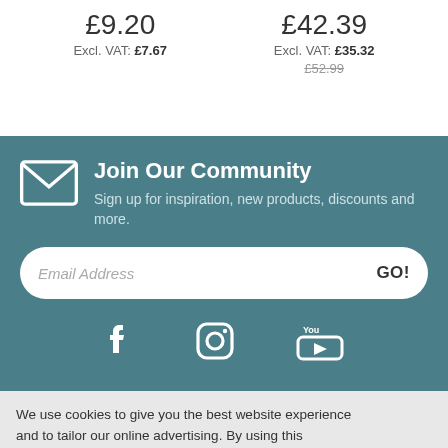£9.20
Excl. VAT: £7.67
£42.39
Excl. VAT: £35.32
£52.99
Join Our Community
Sign up for inspiration, new products, discounts and more.
Email Address  GO!
[Figure (infographic): Facebook, Instagram, YouTube social media icons in white on teal background]
We use cookies to give you the best website experience and to tailor our online advertising. By using this website you accept our Cookie Po...
ACCEPT COOKIES
Need a hand?